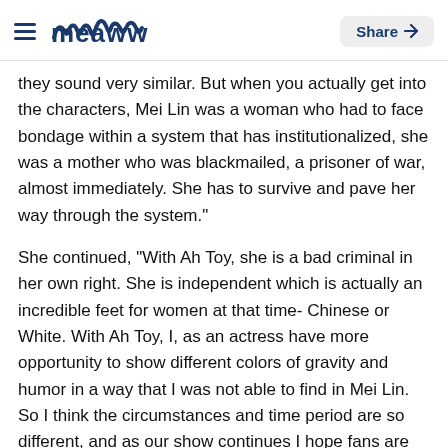meaww — Share
they sound very similar. But when you actually get into the characters, Mei Lin was a woman who had to face bondage within a system that has institutionalized, she was a mother who was blackmailed, a prisoner of war, almost immediately. She has to survive and pave her way through the system."
She continued, "With Ah Toy, she is a bad criminal in her own right. She is independent which is actually an incredible feet for women at that time- Chinese or White. With Ah Toy, I, as an actress have more opportunity to show different colors of gravity and humor in a way that I was not able to find in Mei Lin. So I think the circumstances and time period are so different, and as our show continues I hope fans are able to see the difference."